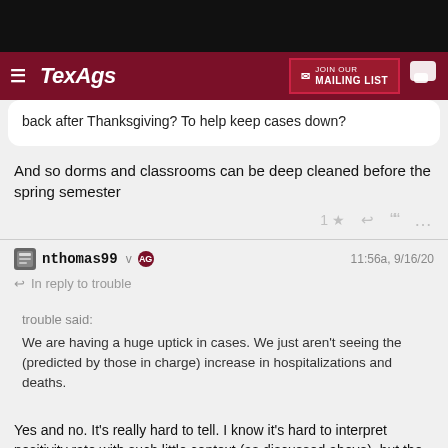TexAgs — JOIN OUR MAILING LIST
back after Thanksgiving? To help keep cases down?
And so dorms and classrooms can be deep cleaned before the spring semester
nthomas99 v AG — 11:56a, 9/16/20
In reply to trouble
trouble said: We are having a huge uptick in cases. We just aren't seeing the (predicted by those in charge) increase in hospitalizations and deaths.
Yes and no. It's really hard to tell. I know it's hard to interpret positivity rate with such little context (as discussed above), but the case increases heavily correlate with a corresponding uptick in tests. That's